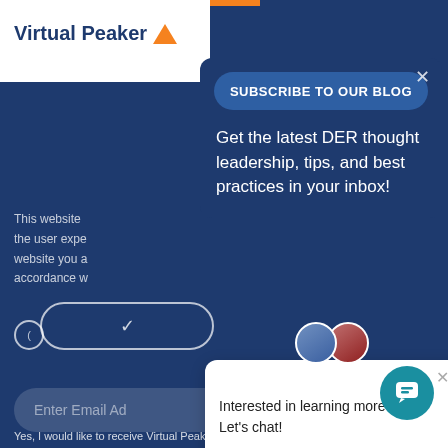[Figure (screenshot): Virtual Peaker website screenshot showing a cookie consent overlay and a blog subscription modal popup. The background is dark navy blue. The Virtual Peaker logo appears in the top-left white header. A 'Subscribe to Our Blog' modal is overlaid on the right side with a close button, a header button, body text reading 'Get the latest DER thought leadership, tips, and best practices in your inbox!', and a chat popup below it with avatars and the text 'Interested in learning more? Let's chat!'. A teal chat bubble button appears in the bottom-right. At the bottom: 'Yes, I would like to receive Virtual Peaker blogs as'.]